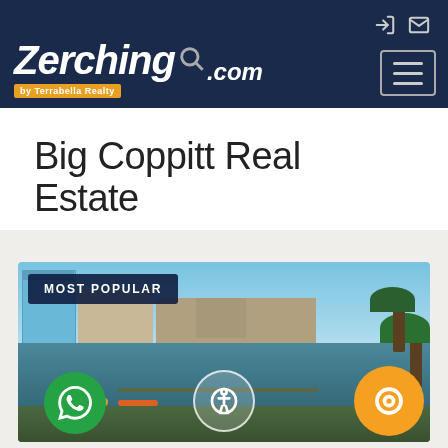Zerching by Terrabella Realty .com
Big Coppitt Real Estate
[Figure (photo): Aerial/waterfront photo of Big Coppitt real estate showing colorful coastal homes, canal with boats, palm trees and blue sky. Has MOST POPULAR badge overlay and floating WhatsApp, accessibility, and search buttons.]